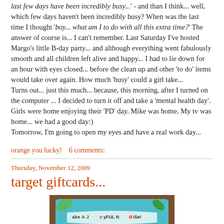last few days have been incredibly busy...' - and than I think... well, which few days haven't been incredibly busy? When was the last time I thought 'boy... what am I to do with all this extra time?' The answer of course is... I can't remember. Last Saturday I've hosted Margo's little B-day party... and although everything went fabulously smooth and all children left alive and happy... I had to lie down for an hour with eyes closed... before the clean up and other 'to do' items would take over again. How much 'busy' could a girl take...
Turns out... just this much... because, this morning, after I turned on the computer ... I decided to turn it off and take a 'mental health day'. Girls were home enjoying their 'PD' day. Mike was home. My tv was home... we had a good day:)
Tomorrow, I'm going to open my eyes and have a real work day...
orange you lucky!    6 comments:
Thursday, November 12, 2009
target giftcards...
[Figure (photo): Image of a colorful greeting card or gift card with text 'make A JoyFUL NoiSe!' on a teal/blue background with decorative elements]